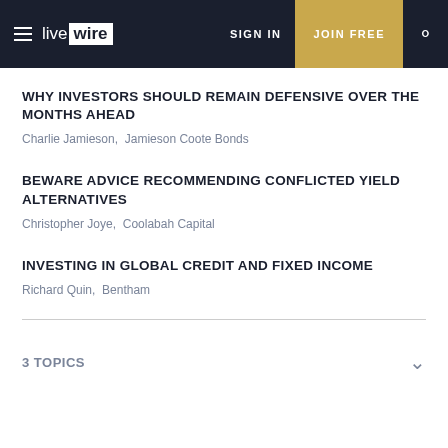live wire | SIGN IN | JOIN FREE
WHY INVESTORS SHOULD REMAIN DEFENSIVE OVER THE MONTHS AHEAD
Charlie Jamieson,  Jamieson Coote Bonds
BEWARE ADVICE RECOMMENDING CONFLICTED YIELD ALTERNATIVES
Christopher Joye,  Coolabah Capital
INVESTING IN GLOBAL CREDIT AND FIXED INCOME
Richard Quin,  Bentham
3 TOPICS